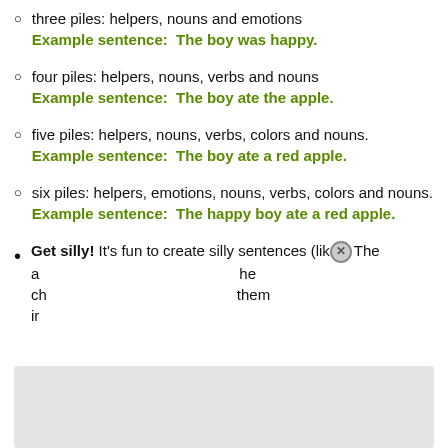three piles: helpers, nouns and emotions
Example sentence:  The boy was happy.
four piles: helpers, nouns, verbs and nouns
Example sentence:  The boy ate the apple.
five piles: helpers, nouns, verbs, colors and nouns.
Example sentence:  The boy ate a red apple.
six piles: helpers, emotions, nouns, verbs, colors and nouns.
Example sentence:  The happy boy ate a red apple.
Get silly! It's fun to create silly sentences (like "The a... he ch... them in...